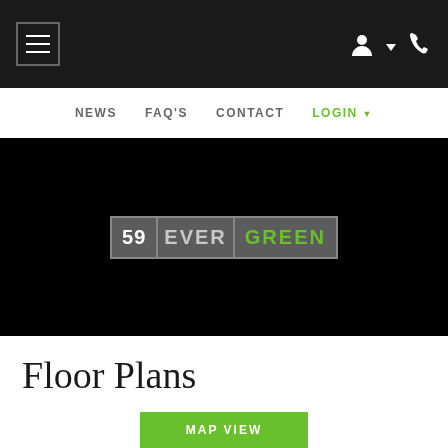Navigation bar with hamburger menu, user icon, phone icon
NEWS  FAQ'S  CONTACT  LOGIN
[Figure (logo): 59 EVERGREEN logo on black background hero image]
Floor Plans
MAP VIEW button (green)